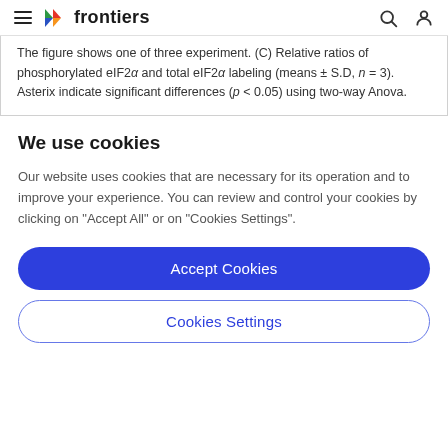frontiers
The figure shows one of three experiment. (C) Relative ratios of phosphorylated eIF2α and total eIF2α labeling (means ± S.D, n = 3). Asterix indicate significant differences (p < 0.05) using two-way Anova.
We use cookies
Our website uses cookies that are necessary for its operation and to improve your experience. You can review and control your cookies by clicking on "Accept All" or on "Cookies Settings".
Accept Cookies
Cookies Settings